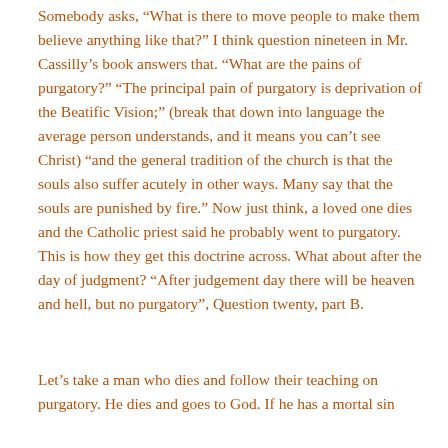Somebody asks, “What is there to move people to make them believe anything like that?” I think question nineteen in Mr. Cassilly’s book answers that. “What are the pains of purgatory?” “The principal pain of purgatory is deprivation of the Beatific Vision;” (break that down into language the average person understands, and it means you can’t see Christ) “and the general tradition of the church is that the souls also suffer acutely in other ways. Many say that the souls are punished by fire.” Now just think, a loved one dies and the Catholic priest said he probably went to purgatory. This is how they get this doctrine across. What about after the day of judgment? “After judgement day there will be heaven and hell, but no purgatory”, Question twenty, part B.
Let’s take a man who dies and follow their teaching on purgatory. He dies and goes to God. If he has a mortal sin